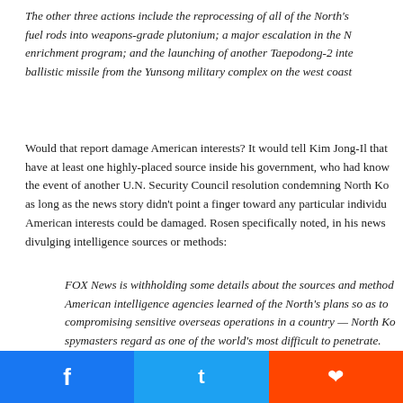The other three actions include the reprocessing of all of the North's fuel rods into weapons-grade plutonium; a major escalation in the N enrichment program; and the launching of another Taepodong-2 inte ballistic missile from the Yunsong military complex on the west coast
Would that report damage American interests? It would tell Kim Jong-Il that have at least one highly-placed source inside his government, who had know the event of another U.N. Security Council resolution condemning North Ko as long as the news story didn't point a finger toward any particular individu American interests could be damaged. Rosen specifically noted, in his news divulging intelligence sources or methods:
FOX News is withholding some details about the sources and method American intelligence agencies learned of the North's plans so as to compromising sensitive overseas operations in a country — North Ko spymasters regard as one of the world's most difficult to penetrate.
This is being divulging with the Kim Rosen looked for the same he was willing